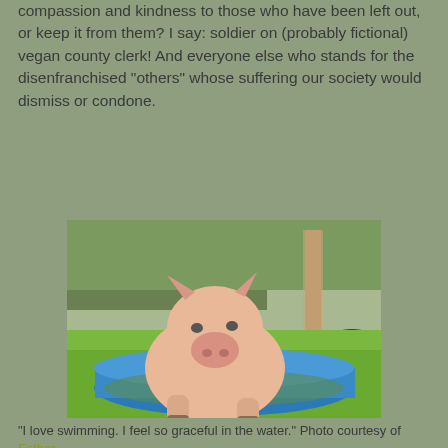compassion and kindness to those who have been left out, or keep it from them? I say: soldier on (probably fictional) vegan county clerk! And everyone else who stands for the disenfranchised "others" whose suffering our society would dismiss or condone.
[Figure (photo): A large pink pig sitting/lounging in a blue plastic kiddie pool on a grassy lawn, with trees and a wooden post in the background.]
"I love swimming. I feel so graceful in the water." Photo courtesy of Esther